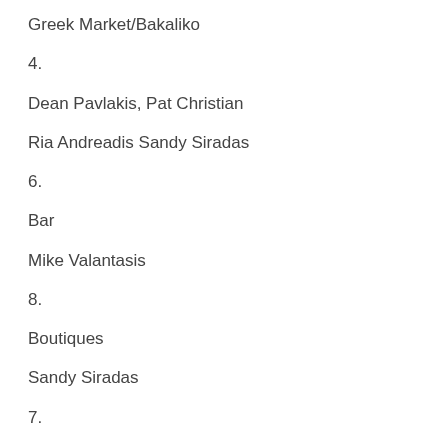Greek Market/Bakaliko
4.
Dean Pavlakis, Pat Christian
Ria Andreadis Sandy Siradas
6.
Bar
Mike Valantasis
8.
Boutiques
Sandy Siradas
7.
9.